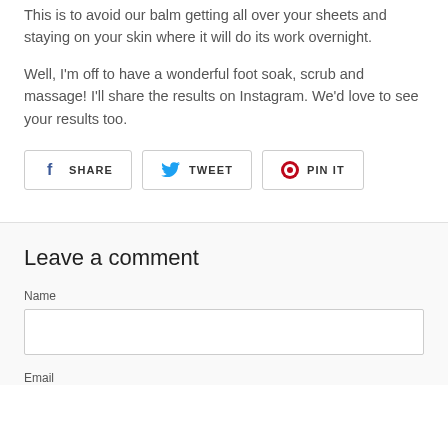This is to avoid our balm getting all over your sheets and staying on your skin where it will do its work overnight.
Well, I'm off to have a wonderful foot soak, scrub and massage! I'll share the results on Instagram. We'd love to see your results too.
[Figure (infographic): Social sharing buttons: SHARE (Facebook), TWEET (Twitter), PIN IT (Pinterest)]
Leave a comment
Name
Email